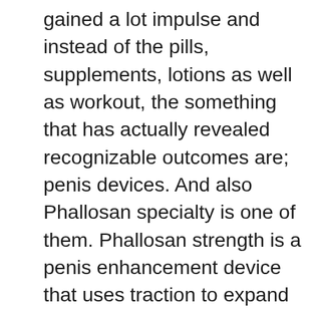gained a lot impulse and instead of the pills, supplements, lotions as well as workout, the something that has actually revealed recognizable outcomes are; penis devices. And also Phallosan specialty is one of them. Phallosan strength is a penis enhancement device that uses traction to expand the penis. This FDA approved item was invented and also evaluated in Germany. The device services a gradual drawing technique that pushes the penile cells to tear and them fix themselves. In the process of destruction and also entertainment, the cells break and reform leading to augmentation of your penis. This technique has been tested medically prior to it was introduced in the penis augmentation sector.